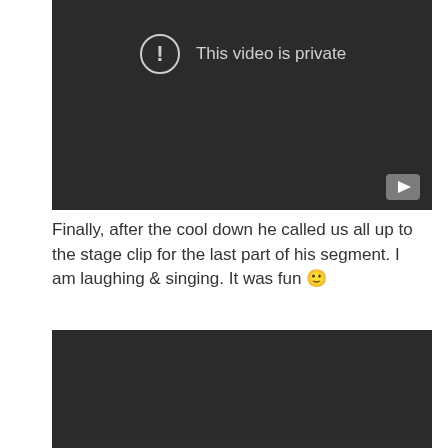[Figure (screenshot): A dark video player showing 'This video is private' message with an exclamation icon in a circle, and a YouTube-style play button in the bottom right corner.]
Finally, after the cool down he called us all up to the stage clip for the last part of his segment. I am laughing & singing. It was fun 🙂
[Figure (screenshot): A dark video player area (bottom portion, content not visible).]